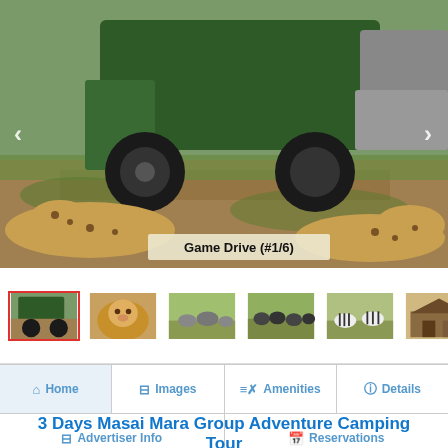[Figure (photo): Safari scene showing cheetahs resting on grass near a green 4x4 vehicle on a dirt track, with another vehicle in background. Caption overlay reads 'Game Drive (#1/6)'.]
[Figure (photo): Thumbnail strip with 6 safari photos: 1) green truck/vehicle (active, red border), 2) lion close-up, 3) animals in field, 4) wildebeest herd, 5) zebras, 6) tented camp structure.]
Home | Images | Amenities | Details | Advertiser Info | Reservations
3 Days Masai Mara Group Adventure Camping Tour